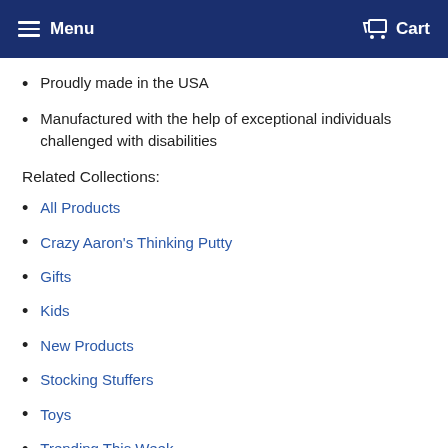Menu  Cart
Proudly made in the USA
Manufactured with the help of exceptional individuals challenged with disabilities
Related Collections:
All Products
Crazy Aaron's Thinking Putty
Gifts
Kids
New Products
Stocking Stuffers
Toys
Trending This Week